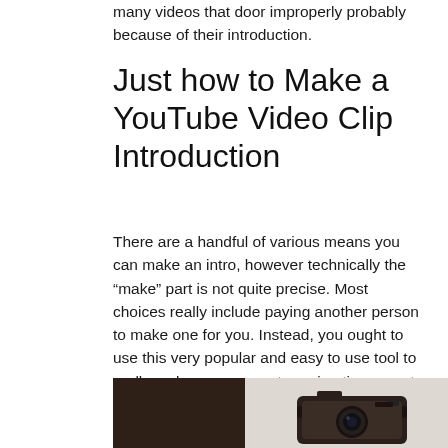many videos that door improperly probably because of their introduction.
Just how to Make a YouTube Video Clip Introduction
There are a handful of various means you can make an intro, however technically the “make” part is not quite precise. Most choices really include paying another person to make one for you. Instead, you ought to use this very popular and easy to use tool to really make your computer animations great.
[Figure (photo): Two-part image: left side shows a dark brown/black background, right side shows a vintage-style compact camera on a light gray background]